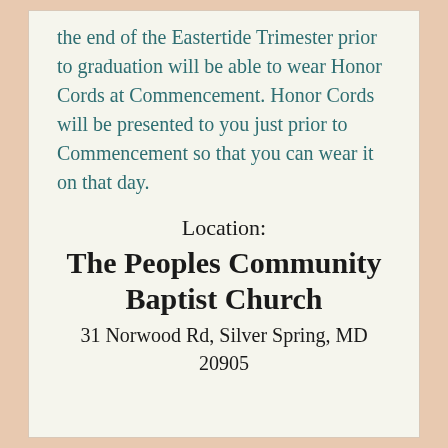the end of the Eastertide Trimester prior to graduation will be able to wear Honor Cords at Commencement. Honor Cords will be presented to you just prior to Commencement so that you can wear it on that day.
Location:
The Peoples Community Baptist Church
31 Norwood Rd, Silver Spring, MD 20905